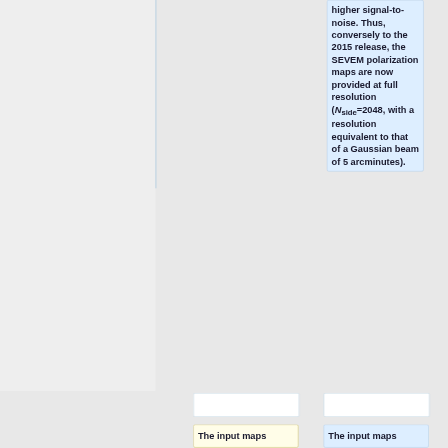higher signal-to-noise. Thus, conversely to the 2015 release, the SEVEM polarization maps are now provided at full resolution (N_side=2048, with a resolution equivalent to that of a Gaussian beam of 5 arcminutes).
The input maps
The input maps